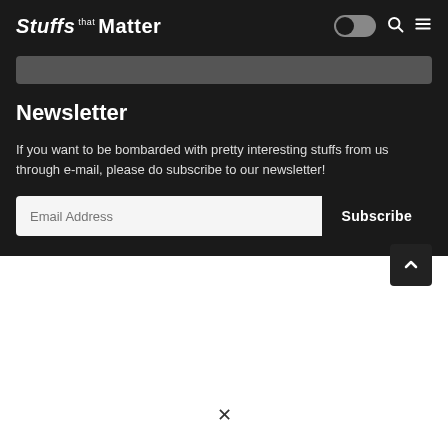Stuffs that Matter
Newsletter
If you want to be bombarded with pretty interesting stuffs from us through e-mail, please do subscribe to our newsletter!